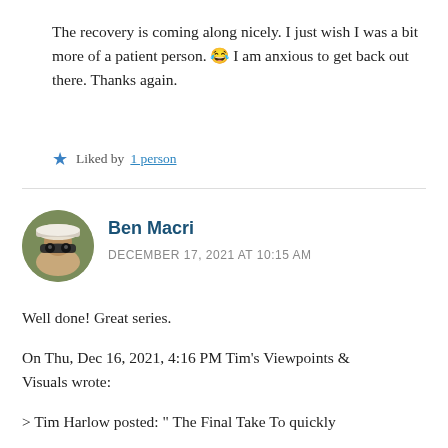The recovery is coming along nicely. I just wish I was a bit more of a patient person. 😂 I am anxious to get back out there. Thanks again.
★ Liked by 1 person
Ben Macri
DECEMBER 17, 2021 AT 10:15 AM
Well done! Great series.
On Thu, Dec 16, 2021, 4:16 PM Tim's Viewpoints & Visuals wrote:
> Tim Harlow posted: " The Final Take To quickly